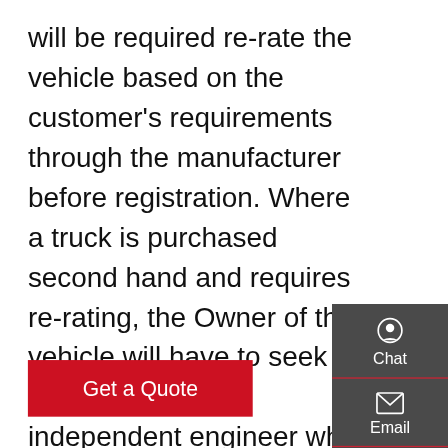will be required re-rate the vehicle based on the customer's requirements through the manufacturer before registration. Where a truck is purchased second hand and requires re-rating, the Owner of the vehicle will have to seek advice from an independent engineer who can assist in the re
[Figure (other): Red 'Get a Quote' button]
[Figure (photo): Underside/undercarriage view of a truck showing rear axle, suspension components, differential housing, and large tyres on a tiled floor]
[Figure (infographic): Dark grey sidebar with Chat (headset icon), Email (envelope icon), Contact (speech bubble icon), and Top (arrow up icon) navigation buttons, each separated by red lines]